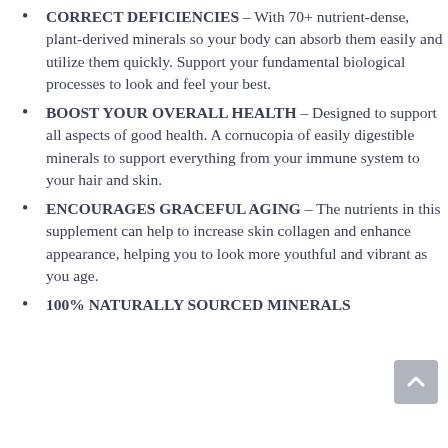CORRECT DEFICIENCIES – With 70+ nutrient-dense, plant-derived minerals so your body can absorb them easily and utilize them quickly. Support your fundamental biological processes to look and feel your best.
BOOST YOUR OVERALL HEALTH – Designed to support all aspects of good health. A cornucopia of easily digestible minerals to support everything from your immune system to your hair and skin.
ENCOURAGES GRACEFUL AGING – The nutrients in this supplement can help to increase skin collagen and enhance appearance, helping you to look more youthful and vibrant as you age.
100% NATURALLY SOURCED MINERALS